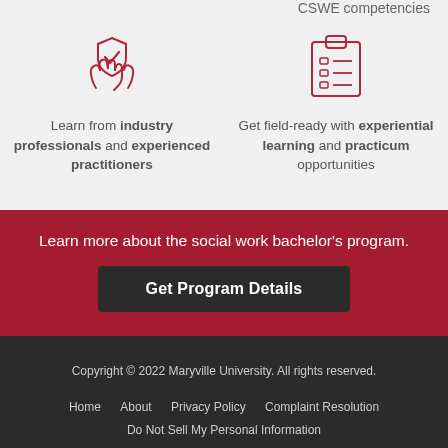CSWE competencies
[Figure (illustration): Red outline icon of two hands holding a shield with a checkmark]
Learn from industry professionals and experienced practitioners
[Figure (illustration): Red outline icon of a clipboard with checklist items]
Get field-ready with experiential learning and practicum opportunities
Learn more about the social work bachelor's program.
Get Program Details
Copyright © 2022 Maryville University. All rights reserved.
Home   About   Privacy Policy   Complaint Resolution
Do Not Sell My Personal Information